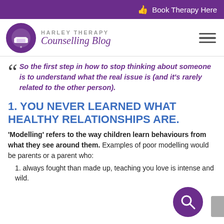Book Therapy Here
[Figure (logo): Harley Therapy Counselling Blog logo with purple circular emblem]
So the first step in how to stop thinking about someone is to understand what the real issue is (and it's rarely related to the other person).
1. YOU NEVER LEARNED WHAT HEALTHY RELATIONSHIPS ARE.
'Modelling' refers to the way children learn behaviours from what they see around them. Examples of poor modelling would be parents or a parent who:
always fought than made up, teaching you love is intense and wild.